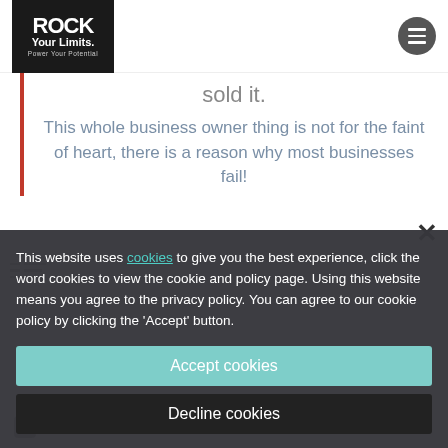[Figure (logo): Rock Your Limits - Power Your Potential logo, white text on dark background]
sold it.
This whole business owner thing is not for the faint of heart, there is a reason why most businesses fail!
This website uses cookies to give you the best experience, click the word cookies to view the cookie and policy page. Using this website means you agree to the privacy policy. You can agree to our cookie policy by clicking the 'Accept' button.
Accept cookies
Decline cookies